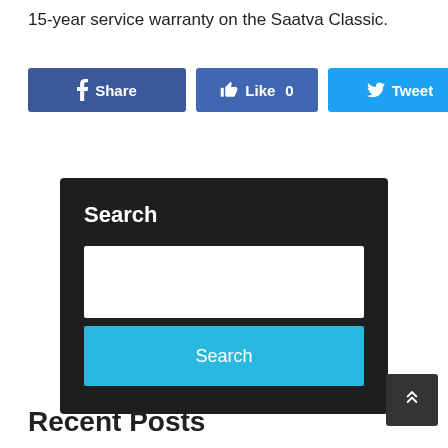15-year service warranty on the Saatva Classic.
[Figure (screenshot): Social sharing buttons: Facebook Share (dark blue), Like 0 (medium blue), Tweet (light blue), Pin it (red)]
[Figure (screenshot): Dark search widget box with white text Search label, white input field, and cyan Search button]
Recent Posts